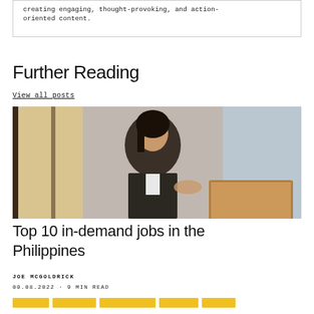creating engaging, thought-provoking, and action-oriented content.
Further Reading
View all posts
[Figure (photo): A businesswoman in a suit sitting at a desk, smiling while looking at a laptop, with a window and brick wall in the background.]
Top 10 in-demand jobs in the Philippines
JOE MCGOLDRICK
09.08.2022 · 9 MIN READ
[tags row]